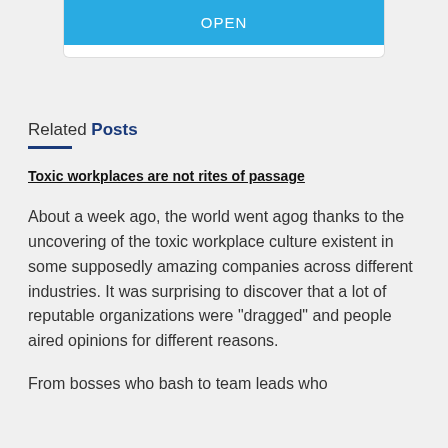[Figure (screenshot): Blue OPEN button inside a white card at the top of the page]
Related Posts
Toxic workplaces are not rites of passage
About a week ago, the world went agog thanks to the uncovering of the toxic workplace culture existent in some supposedly amazing companies across different industries. It was surprising to discover that a lot of reputable organizations were “dragged” and people aired opinions for different reasons.
From bosses who bash to team leads who